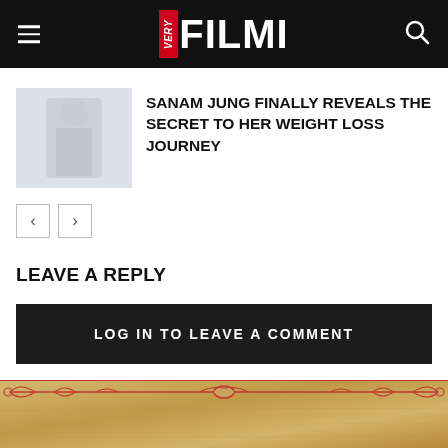VERY FILMI
SANAM JUNG FINALLY REVEALS THE SECRET TO HER WEIGHT LOSS JOURNEY
LEAVE A REPLY
LOG IN TO LEAVE A COMMENT
[Figure (illustration): Decorative parchment border with red ornamental scroll design at bottom of page]